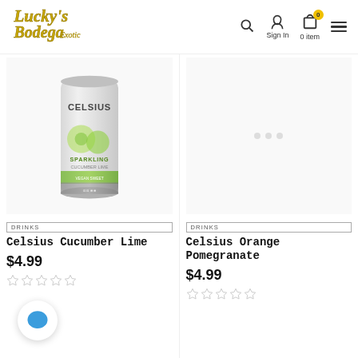Lucky's Bodega Exotic – Sign In – 0 item – navigation header
[Figure (photo): Celsius Cucumber Lime sparkling drink can with cucumber and lime imagery]
[Figure (other): Right product image loading placeholder with dot indicators]
DRINKS
Celsius Cucumber Lime
$4.99
DRINKS
Celsius Orange Pomegranate
$4.99